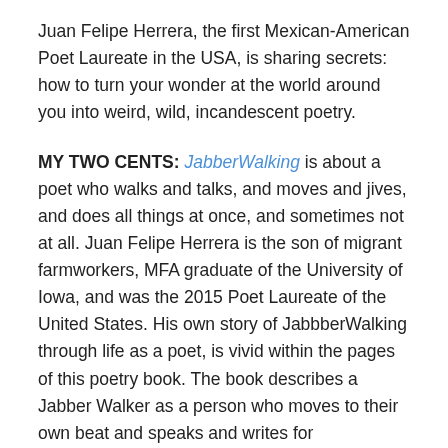Juan Felipe Herrera, the first Mexican-American Poet Laureate in the USA, is sharing secrets: how to turn your wonder at the world around you into weird, wild, incandescent poetry.
MY TWO CENTS: JabberWalking is about a poet who walks and talks, and moves and jives, and does all things at once, and sometimes not at all. Juan Felipe Herrera is the son of migrant farmworkers, MFA graduate of the University of Iowa, and was the 2015 Poet Laureate of the United States. His own story of JabbberWalking through life as a poet, is vivid within the pages of this poetry book. The book describes a Jabber Walker as a person who moves to their own beat and speaks and writes for themselves. It is a book of the colorful life of a poet who does not color inside the lines.